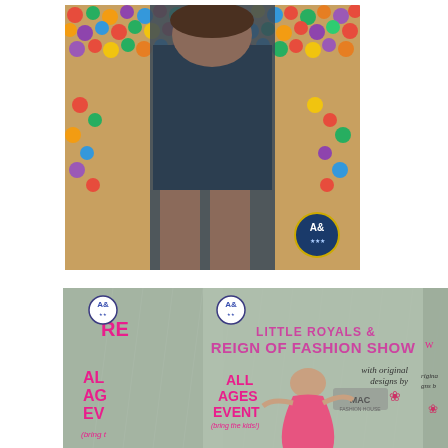[Figure (photo): A person standing in front of a colorful wall covered in gum/candy pieces. The person is wearing a dark outfit. An 'A&' watermark/logo is visible in the lower right of the photo.]
[Figure (photo): A promotional flyer for 'Little Royals & Reign of Fashion Show' with original designs by MAC Fashion House. Text includes 'ALL AGES EVENT (bring the kids!)'. A woman in a pink dress is shown in a rainy scene. Multiple overlapping copies of the flyer are visible. An 'A&' logo watermark appears on the flyer.]